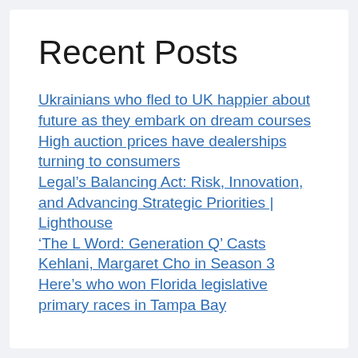Recent Posts
Ukrainians who fled to UK happier about future as they embark on dream courses
High auction prices have dealerships turning to consumers
Legal’s Balancing Act: Risk, Innovation, and Advancing Strategic Priorities | Lighthouse
‘The L Word: Generation Q’ Casts Kehlani, Margaret Cho in Season 3
Here’s who won Florida legislative primary races in Tampa Bay